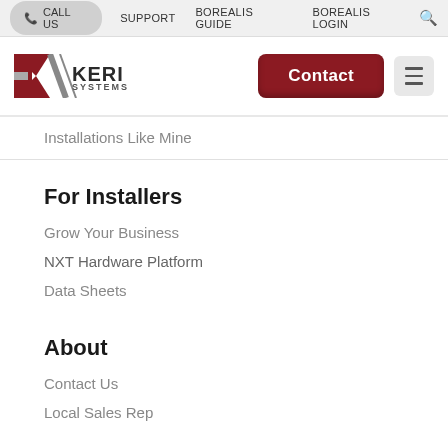CALL US   SUPPORT   BOREALIS GUIDE   BOREALIS LOGIN
[Figure (logo): Keri Systems logo with stylized K mark in red/gray and text KERI SYSTEMS]
Contact
Installations Like Mine
For Installers
Grow Your Business
NXT Hardware Platform
Data Sheets
About
Contact Us
Local Sales Rep